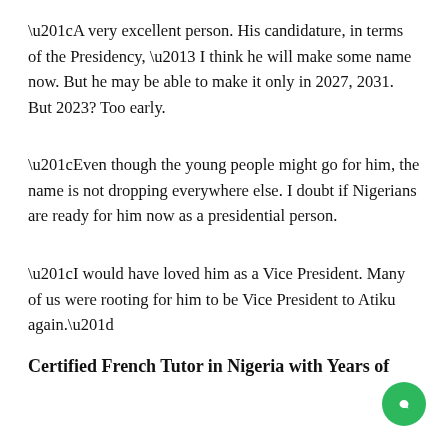“A very excellent person. His candidature, in terms of the Presidency, – I think he will make some name now. But he may be able to make it only in 2027, 2031. But 2023? Too early.
“Even though the young people might go for him, the name is not dropping everywhere else. I doubt if Nigerians are ready for him now as a presidential person.
“I would have loved him as a Vice President. Many of us were rooting for him to be Vice President to Atiku again.”
Certified French Tutor in Nigeria with Years of